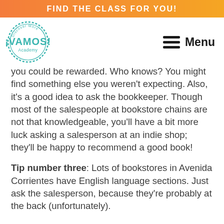FIND THE CLASS FOR YOU!
[Figure (logo): Vamos Academy circular logo with teal border and text 'Discover More', '¡VAMOS!', 'Academy']
you could be rewarded. Who knows? You might find something else you weren't expecting. Also, it's a good idea to ask the bookkeeper. Though most of the salespeople at bookstore chains are not that knowledgeable, you'll have a bit more luck asking a salesperson at an indie shop; they'll be happy to recommend a good book!
Tip number three: Lots of bookstores in Avenida Corrientes have English language sections. Just ask the salesperson, because they're probably at the back (unfortunately).